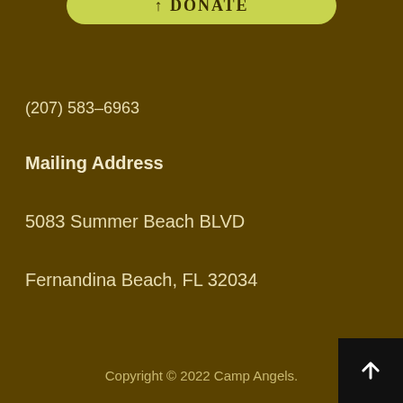[Figure (other): Donate button with yellow-green rounded rectangle background and bold text '↑ DONATE']
(207) 583-6963
Mailing Address
5083 Summer Beach BLVD
Fernandina Beach, FL 32034
Copyright © 2022 Camp Angels.